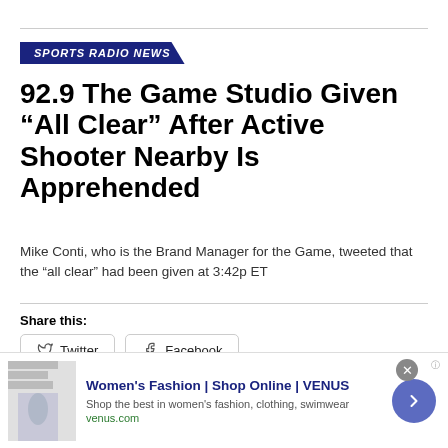SPORTS RADIO NEWS
92.9 The Game Studio Given “All Clear” After Active Shooter Nearby Is Apprehended
Mike Conti, who is the Brand Manager for the Game, tweeted that the “all clear” had been given at 3:42p ET
Share this:
Twitter   Facebook
Published 14 hours ago on August 22, 2022
By BSM Staff
[Figure (infographic): Advertisement banner: Women’s Fashion | Shop Online | VENUS. Shop the best in women’s fashion, clothing, swimwear. venus.com]